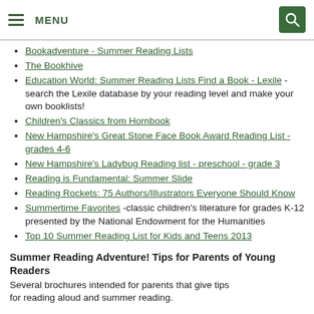MENU
Bookadventure - Summer Reading Lists
The Bookhive
Education World: Summer Reading Lists Find a Book - Lexile - search the Lexile database by your reading level and make your own booklists!
Children's Classics from Hornbook
New Hampshire's Great Stone Face Book Award Reading List - grades 4-6
New Hampshire's Ladybug Reading list - preschool - grade 3
Reading is Fundamental: Summer Slide
Reading Rockets: 75 Authors/Illustrators Everyone Should Know
Summertime Favorites -classic children's literature for grades K-12 presented by the National Endowment for the Humanities
Top 10 Summer Reading List for Kids and Teens 2013
Summer Reading Adventure! Tips for Parents of Young Readers
Several brochures intended for parents that give tips for reading aloud and summer reading.